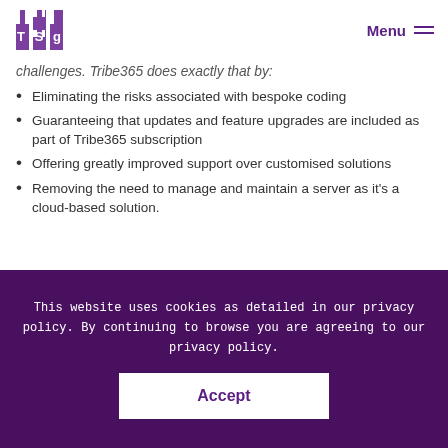TSG | Menu
challenges. Tribe365 does exactly that by:
Eliminating the risks associated with bespoke coding
Guaranteeing that updates and feature upgrades are included as part of Tribe365 subscription
Offering greatly improved support over customised solutions
Removing the need to manage and maintain a server as it's a cloud-based solution.
This website uses cookies as detailed in our privacy policy. By continuing to browse you are agreeing to our privacy policy.
Accept